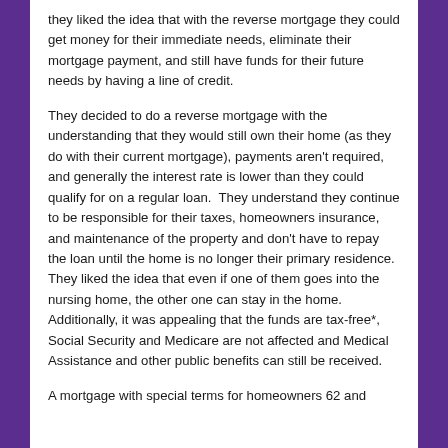they liked the idea that with the reverse mortgage they could get money for their immediate needs, eliminate their mortgage payment, and still have funds for their future needs by having a line of credit.
They decided to do a reverse mortgage with the understanding that they would still own their home (as they do with their current mortgage), payments aren't required, and generally the interest rate is lower than they could qualify for on a regular loan.  They understand they continue to be responsible for their taxes, homeowners insurance, and maintenance of the property and don't have to repay the loan until the home is no longer their primary residence.  They liked the idea that even if one of them goes into the nursing home, the other one can stay in the home.  Additionally, it was appealing that the funds are tax-free*, Social Security and Medicare are not affected and Medical Assistance and other public benefits can still be received.
A mortgage with special terms for homeowners 62 and